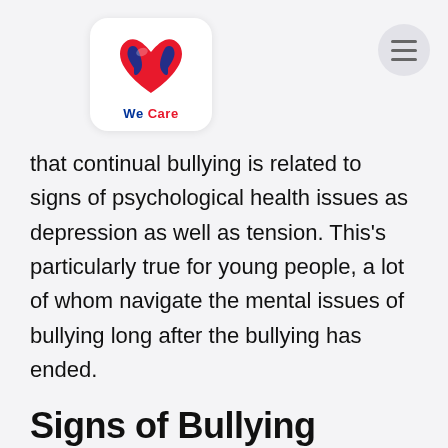[Figure (logo): We Care logo: red heart with blue hands, text 'We Care' in blue and red below, in a white rounded rectangle]
that continual bullying is related to signs of psychological health issues as depression as well as tension. This's particularly true for young people, a lot of whom navigate the mental issues of bullying long after the bullying has ended.
Signs of Bullying